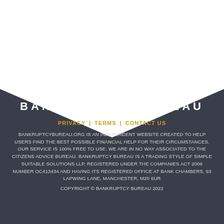[Figure (illustration): Dark background with white chevron/arrow shape pointing upward, separating white top area from dark footer area]
BANKRUPTCY BUREAU
PRIVACY | TERMS | CONTACT US
BANKRUPTCYBUREAU.ORG IS AN INDEPENDENT WEBSITE CREATED TO HELP USERS FIND THE BEST POSSIBLE FINANCIAL HELP FOR THEIR CIRCUMSTANCES. OUR SERVICE IS 100% FREE TO USE. WE ARE IN NO WAY ASSOCIATED TO THE CITIZENS ADVICE BUREAU. BANKRUPTCY BUREAU IS A TRADING STYLE OF SIMPLE SUITABLE SOLUTIONS LLP, REGISTERED UNDER THE COMPANIES ACT 2006 NUMBER OC413434 AND HAVING ITS REGISTERED OFFICE AT BANK CHAMBERS, 93 LAPWING LANE, MANCHESTER, M20 6UR
COPYRIGHT © BANKRUPTCY BUREAU 2022